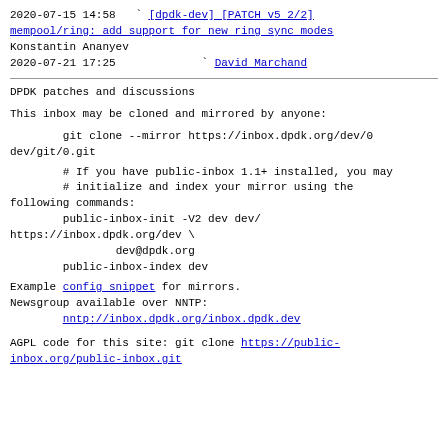2020-07-15 14:58   ` [dpdk-dev] [PATCH v5 2/2] mempool/ring: add support for new ring sync modes
Konstantin Ananyev
2020-07-21 17:25   ` David Marchand
DPDK patches and discussions
This inbox may be cloned and mirrored by anyone:
git clone --mirror https://inbox.dpdk.org/dev/0
dev/git/0.git
# If you have public-inbox 1.1+ installed, you may
        # initialize and index your mirror using the
following commands:
        public-inbox-init -V2 dev dev/
https://inbox.dpdk.org/dev \
                dev@dpdk.org
        public-inbox-index dev
Example config snippet for mirrors.
Newsgroup available over NNTP:
        nntp://inbox.dpdk.org/inbox.dpdk.dev
AGPL code for this site: git clone https://public-inbox.org/public-inbox.git